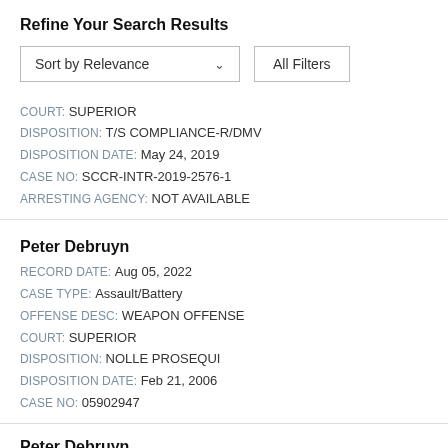Refine Your Search Results
Sort by Relevance  |  All Filters
COURT: SUPERIOR
DISPOSITION: T/S COMPLIANCE-R/DMV
DISPOSITION DATE: May 24, 2019
CASE NO: SCCR-INTR-2019-2576-1
ARRESTING AGENCY: NOT AVAILABLE
Peter Debruyn
RECORD DATE: Aug 05, 2022
CASE TYPE: Assault/Battery
OFFENSE DESC: WEAPON OFFENSE
COURT: SUPERIOR
DISPOSITION: NOLLE PROSEQUI
DISPOSITION DATE: Feb 21, 2006
CASE NO: 05902947
Peter Debruyn